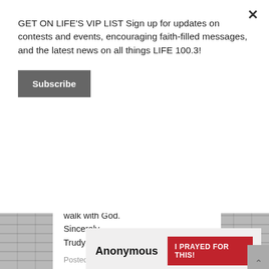GET ON LIFE'S VIP LIST Sign up for updates on contests and events, encouraging faith-filled messages, and the latest news on all things LIFE 100.3!
Subscribe
walk with God.
Sincerely,
Trudy Pink
Posted on February 19th, 2020
Anonymous
I PRAYED FOR THIS!
Prayed for 7 times.
Please pray for my wife and I as we are struggling. We love each other, but so many things